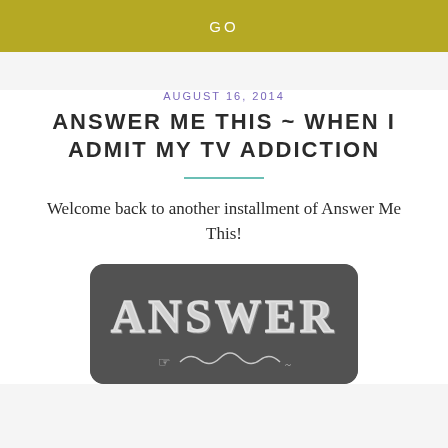GO
AUGUST 16, 2014
ANSWER ME THIS ~ WHEN I ADMIT MY TV ADDICTION
Welcome back to another installment of Answer Me This!
[Figure (illustration): Chalkboard-style graphic with decorative vintage text reading 'ANSWER' on a dark gray background with rounded corners, and a decorative scroll or hand pointer element at the bottom.]